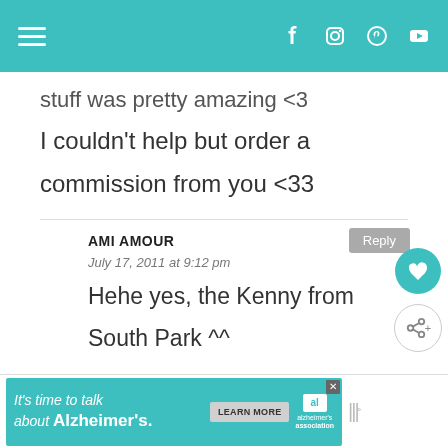Navigation header with hamburger menu and social icons (Facebook, Instagram, Pinterest, YouTube)
stuff was pretty amazing <3 I couldn't help but order a commission from you <33
AMI AMOUR
July 17, 2011 at 9:12 pm
Hehe yes, the Kenny from South Park ^^
[Figure (other): Advertisement banner: It's time to talk about Alzheimer's. with Learn More button and Alzheimer's Association logo]